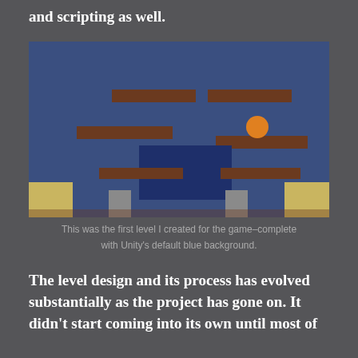and scripting as well.
[Figure (screenshot): A 2D platformer game level with a dark blue background. It shows several brown rectangular platforms arranged at different heights. An orange circle (ball/player) sits on one of the right-side platforms. There is a darker blue rectangle in the middle of the screen. At the bottom are two tan/gold rectangular structures on the left and right corners, and two small grey rectangles near the bottom center-left and center-right areas.]
This was the first level I created for the game–complete with Unity's default blue background.
The level design and its process has evolved substantially as the project has gone on. It didn't start coming into its own until most of